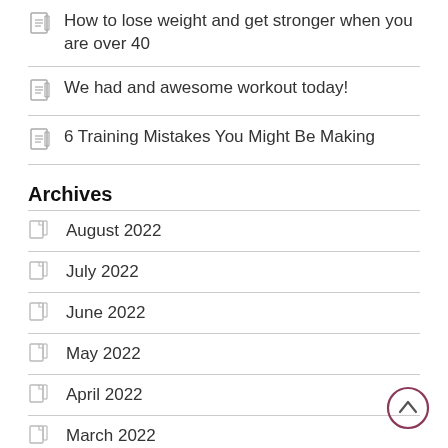How to lose weight and get stronger when you are over 40
We had and awesome workout today!
6 Training Mistakes You Might Be Making
Archives
August 2022
July 2022
June 2022
May 2022
April 2022
March 2022